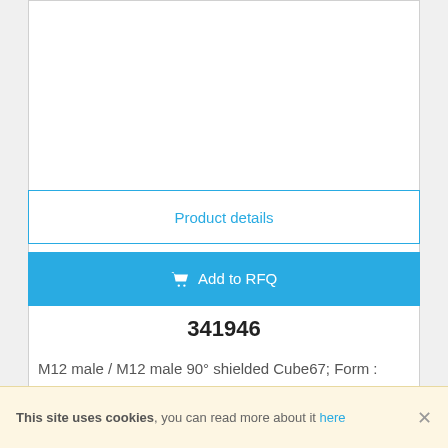[Figure (other): White product card area (top portion, image region not visible)]
Product details
Add to RFQ
341946
M12 male / M12 male 90° shielded Cube67; Form : 341946; Operating voltage : max. 30 V AC/DC; Operating current per contact : max. 4 A; Coding : A-coded; Locking of ports : Screw th …
[Figure (other): White product card area (bottom portion, image region not visible)]
This site uses cookies, you can read more about it here